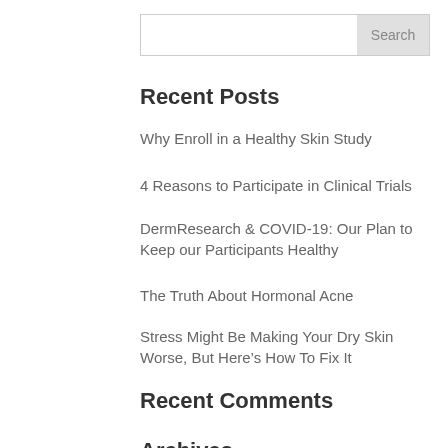[Figure (other): Search box with input field and Search button]
Recent Posts
Why Enroll in a Healthy Skin Study
4 Reasons to Participate in Clinical Trials
DermResearch & COVID-19: Our Plan to Keep our Participants Healthy
The Truth About Hormonal Acne
Stress Might Be Making Your Dry Skin Worse, But Here's How To Fix It
Recent Comments
Archives
May 2020